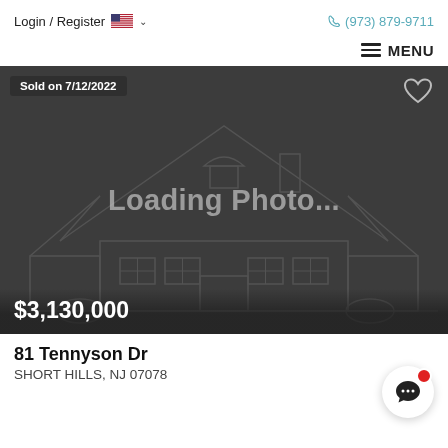Login / Register | (973) 879-9711
MENU
[Figure (photo): Real estate listing screenshot showing a placeholder 'Loading Photo...' image of a house outline on a dark gray background, with 'Sold on 7/12/2022' badge in top-left and a heart icon in top-right. Price $3,130,000 shown at the bottom of the image.]
Sold on 7/12/2022
$3,130,000
81 Tennyson Dr
SHORT HILLS, NJ 07078